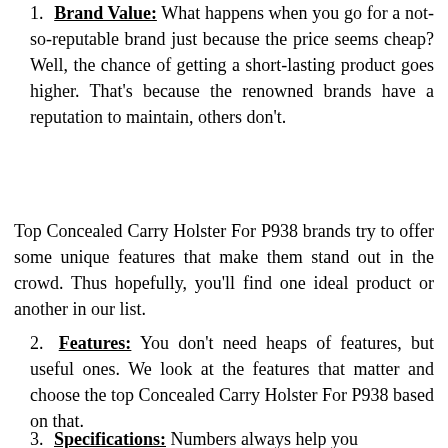1. Brand Value: What happens when you go for a not-so-reputable brand just because the price seems cheap? Well, the chance of getting a short-lasting product goes higher. That's because the renowned brands have a reputation to maintain, others don't.
Top Concealed Carry Holster For P938 brands try to offer some unique features that make them stand out in the crowd. Thus hopefully, you'll find one ideal product or another in our list.
2. Features: You don't need heaps of features, but useful ones. We look at the features that matter and choose the top Concealed Carry Holster For P938 based on that.
3. Specifications: Numbers always help you